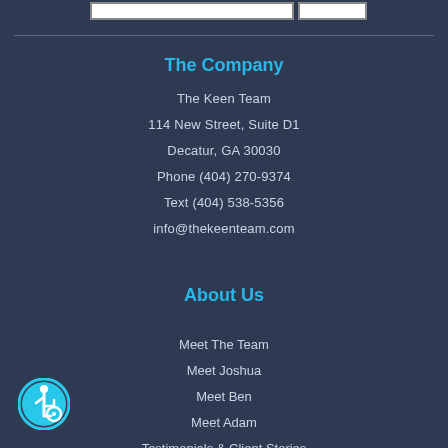The Company
The Keen Team
114 New Street, Suite D1
Decatur, GA 30030
Phone (404) 270-9374
Text (404) 538-5356
info@thekeenteam.com
About Us
Meet The Team
Meet Joshua
Meet Ben
Meet Adam
Testimonials & Client Stories
[Figure (illustration): Accessibility icon — blue circle with wheelchair user symbol]